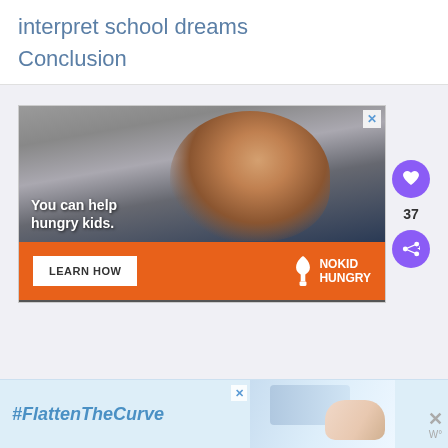interpret school dreams
Conclusion
[Figure (photo): No Kid Hungry advertisement showing a young boy eating in a school setting with text 'You can help hungry kids.' and a 'LEARN HOW' button on an orange bar]
[Figure (photo): Advertisement banner for #FlattenTheCurve showing hands washing at a faucet]